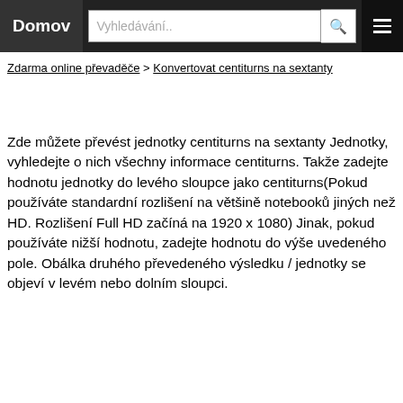Domov | Vyhledávání..
Zdarma online převaděče > Konvertovat centiturns na sextanty
Zde můžete převést jednotky centiturns na sextanty Jednotky, vyhledejte o nich všechny informace centiturns. Takže zadejte hodnotu jednotky do levého sloupce jako centiturns(Pokud používáte standardní rozlišení na většině notebooků jiných než HD. Rozlišení Full HD začíná na 1920 x 1080) Jinak, pokud používáte nižší hodnotu, zadejte hodnotu do výše uvedeného pole. Obálka druhého převedeného výsledku / jednotky se objeví v levém nebo dolním sloupci.